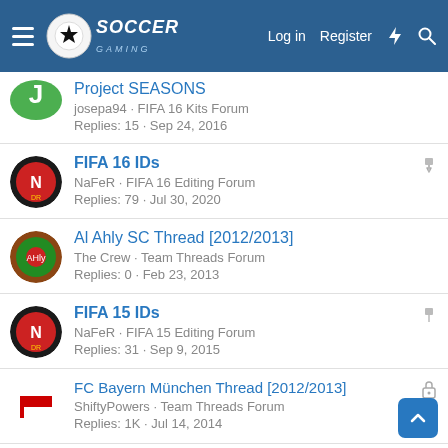Soccer Gaming — Log in | Register
Project SEASONS
josepa94 · FIFA 16 Kits Forum
Replies: 15 · Sep 24, 2016
FIFA 16 IDs
NaFeR · FIFA 16 Editing Forum
Replies: 79 · Jul 30, 2020
Al Ahly SC Thread [2012/2013]
The Crew · Team Threads Forum
Replies: 0 · Feb 23, 2013
FIFA 15 IDs
NaFeR · FIFA 15 Editing Forum
Replies: 31 · Sep 9, 2015
FC Bayern München Thread [2012/2013]
ShiftyPowers · Team Threads Forum
Replies: 1K · Jul 14, 2014